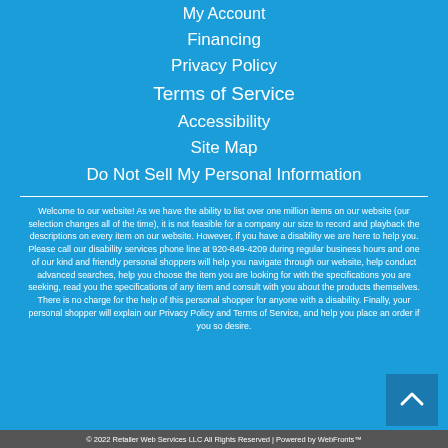My Account
Financing
Privacy Policy
Terms of Service
Accessibility
Site Map
Do Not Sell My Personal Information
Welcome to our website! As we have the ability to list over one million items on our website (our selection changes all of the time), it is not feasible for a company our size to record and playback the descriptions on every item on our website. However, if you have a disability we are here to help you. Please call our disability services phone line at 920-849-4209 during regular business hours and one of our kind and friendly personal shoppers will help you navigate through our website, help conduct advanced searches, help you choose the item you are looking for with the specifications you are seeking, read you the specifications of any item and consult with you about the products themselves. There is no charge for the help of this personal shopper for anyone with a disability. Finally, your personal shopper will explain our Privacy Policy and Terms of Service, and help you place an order if you so desire.
© 2022 Retailer Web Services LLC All Rights Reserved | Powered by WebFronts™